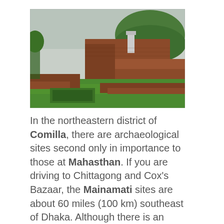[Figure (photo): Photograph of ancient brick archaeological ruins at Mainamati/Comilla, Bangladesh. Red brick terraced structures with green grass lawns in the foreground and a large green mound (stupa) in the background under a cloudy sky.]
In the northeastern district of Comilla, there are archaeological sites second only in importance to those at Mahasthan. If you are driving to Chittagong and Cox's Bazaar, the Mainamati sites are about 60 miles (100 km) southeast of Dhaka. Although there is an extensive range of over 50 very important Buddhist sites